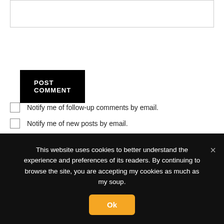[Figure (screenshot): Text input field box (comment form input area), partially visible at top of page]
POST COMMENT
Notify me of follow-up comments by email.
Notify me of new posts by email.
This site uses Akismet to reduce spam. Learn how your comment data is processed.
PREVIOUS POST
Salt, windmills and pink feathers.
NEXT POST
Sourdough Bread: Your First Recipe.
This website uses cookies to better understand the experience and preferences of its readers. By continuing to browse the site, you are accepting my cookies as much as my soup.
Ok